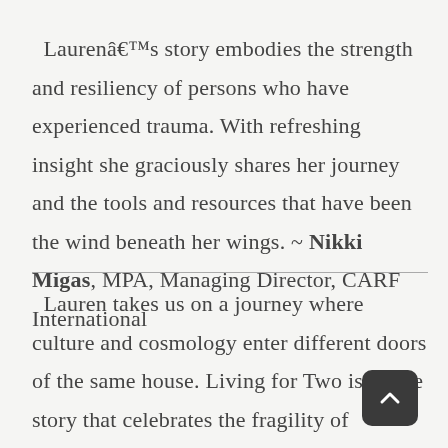Laurenâ€™s story embodies the strength and resiliency of persons who have experienced trauma. With refreshing insight she graciously shares her journey and the tools and resources that have been the wind beneath her wings. ~ Nikki Migas, MPA, Managing Director, CARF International
Lauren takes us on a journey where culture and cosmology enter different doors of the same house. Living for Two is a love story that celebrates the fragility of humankind and the resiliency of